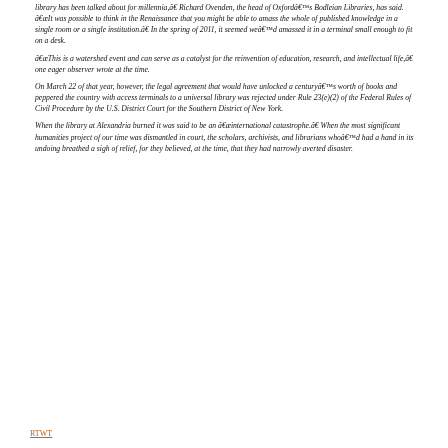library has been talked about for millennia,â Richard Ovenden, the head of Oxfordâs Bodleian Libraries, has said. âIt was possible to think in the Renaissance that you might be able to amass the whole of published knowledge in a single room or a single institution.â In the spring of 2011, it seemed weâd amassed it in a terminal small enough to fit on a desk.
âThis is a watershed event and can serve as a catalyst for the reinvention of education, research, and intellectual life,â one eager observer wrote at the time.
On March 22 of that year, however, the legal agreement that would have unlocked a centuryâs worth of books and peppered the country with access terminals to a universal library was rejected under Rule 23(e)(2) of the Federal Rules of Civil Procedure by the U.S. District Court for the Southern District of New York.
When the library at Alexandria burned it was said to be an âinternational catastrophe.â When the most significant humanities project of our time was dismantled in court, the scholars, archivists, and librarians whoâd had a hand in its undoing breathed a sigh of relief, for they believed, at the time, that they had narrowly averted disaster.
RTWT